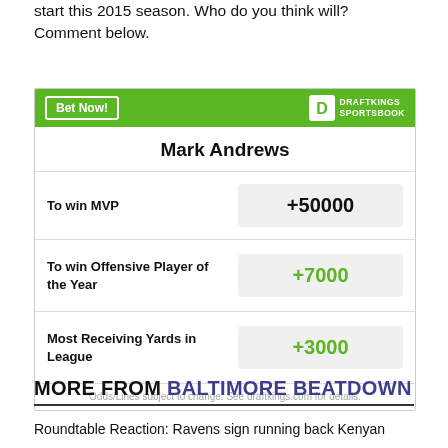start this 2015 season. Who do you think will? Comment below.
[Figure (other): DraftKings Sportsbook betting widget for Mark Andrews showing odds: To win MVP +50000, To win Offensive Player of the Year +7000, Most Receiving Yards in League +3000]
MORE FROM BALTIMORE BEATDOWN
Roundtable Reaction: Ravens sign running back Kenyan